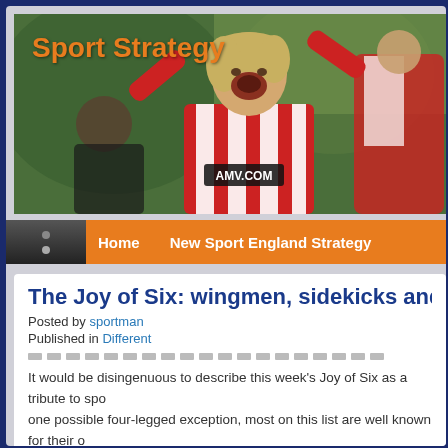[Figure (screenshot): Screenshot of a sports blog website called Sport Strategy, showing a header image of a female soccer player celebrating in a red and white striped jersey, an orange navigation bar with Home and New Sport England Strategy links, and a blog post titled The Joy of Six: wingmen, sidekicks and hangers-on, posted by sportman, published in Different, with article text beginning.]
Sport Strategy
Home   New Sport England Strategy
The Joy of Six: wingmen, sidekicks and hangers-o
Posted by sportman
Published in Different
It would be disingenuous to describe this week's Joy of Six as a tribute to spo one possible four-legged exception, most on this list are well known for their o indeterminate their particular duties may occasionally seem. Uncelebrated bu that they are the wind beneath the wings of more talented athletes in whose s